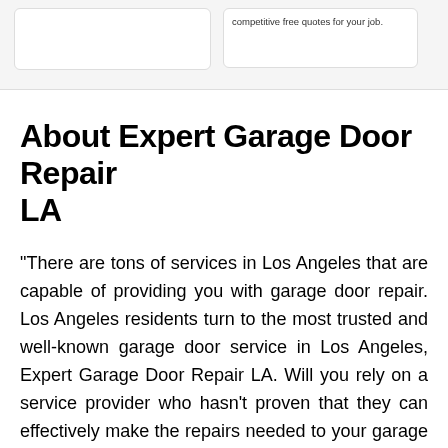competitive free quotes for your job.
About Expert Garage Door Repair LA
"There are tons of services in Los Angeles that are capable of providing you with garage door repair. Los Angeles residents turn to the most trusted and well-known garage door service in Los Angeles, Expert Garage Door Repair LA. Will you rely on a service provider who hasn't proven that they can effectively make the repairs needed to your garage door? Los